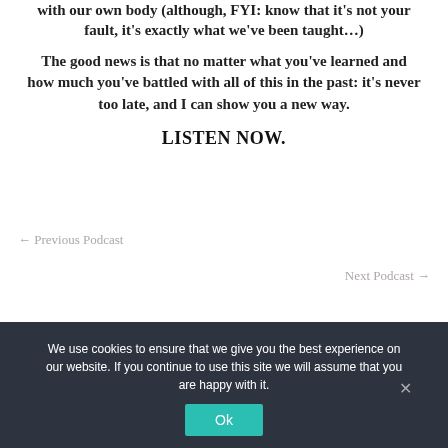with our own body (although, FYI: know that it's not your fault, it's exactly what we've been taught…)
The good news is that no matter what you've learned and how much you've battled with all of this in the past: it's never too late, and I can show you a new way.
LISTEN NOW.
← Previous Podcast
Next Podcast →
We use cookies to ensure that we give you the best experience on our website. If you continue to use this site we will assume that you are happy with it.
Ok